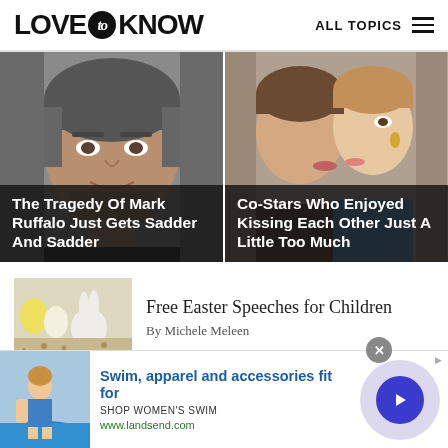LOVE to KNOW | ALL TOPICS
[Figure (photo): Photo of Mark Ruffalo (actor, grey-haired man) with overlay text: The Tragedy Of Mark Ruffalo Just Gets Sadder And Sadder]
[Figure (photo): Photo of two people kissing/embracing with overlay text: Co-Stars Who Enjoyed Kissing Each Other Just A Little Too Much]
[Figure (photo): Thumbnail image of Easter decorations: white ceramic bunny and yellow eggs]
Free Easter Speeches for Children
By Michele Meleen
[Figure (photo): Advertisement banner: woman in swimsuit on surfboard. Text: Swim, apparel and accessories fit for. SHOP WOMEN'S SWIM. www.landsend.com]